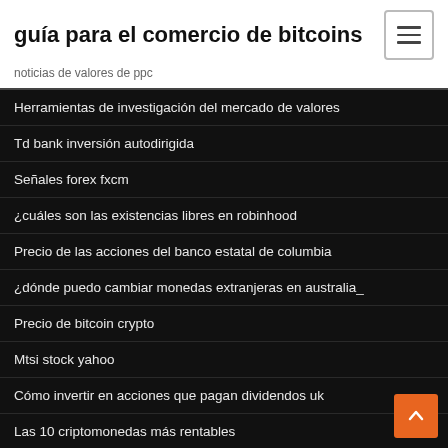guía para el comercio de bitcoins
noticias de valores de ppc
Herramientas de investigación del mercado de valores
Td bank inversión autodirigida
Señales forex fxcm
¿cuáles son las existencias libres en robinhood
Precio de las acciones del banco estatal de columbia
¿dónde puedo cambiar monedas extranjeras en australia_
Precio de bitcoin crypto
Mtsi stock yahoo
Cómo invertir en acciones que pagan dividendos uk
Las 10 criptomonedas más rentables